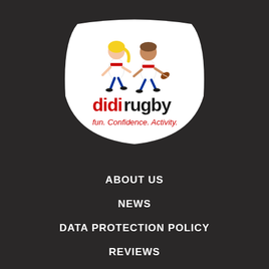[Figure (logo): didi rugby logo on white shield/pill shape background. Shows two cartoon children running - one with blonde hair, one with brown hair - wearing white rugby kit. Text reads 'didi rugby' in red and black, with tagline 'fun. Confidence. Activity.' in red below.]
ABOUT US
NEWS
DATA PROTECTION POLICY
REVIEWS
BUY KIT
PRIVACY STATEMENT